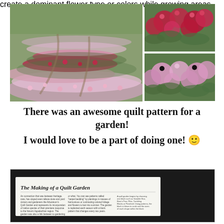[Figure (photo): Three garden photos showing rows of pink and red flowers (pentas/lantana) arranged in a quilt-like pattern. Left: wide shot of the garden rows. Top right: close-up of red blooms. Bottom right: close-up of pink blooms.]
There was an awesome quilt pattern for a garden!
I would love to be a part of doing one! 🙂
[Figure (photo): Photo of an interpretive sign titled 'The Making of a Quilt Garden' with small text columns and a quilt fabric sample visible on the right side.]